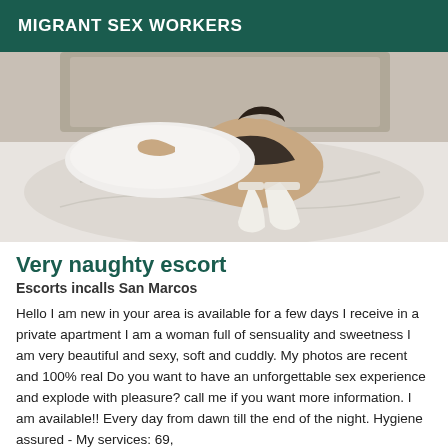MIGRANT SEX WORKERS
[Figure (photo): Photo of a person on a bed with white sheets, wearing white stockings, viewed from behind/side angle]
Very naughty escort
Escorts incalls San Marcos
Hello I am new in your area is available for a few days I receive in a private apartment I am a woman full of sensuality and sweetness I am very beautiful and sexy, soft and cuddly. My photos are recent and 100% real Do you want to have an unforgettable sex experience and explode with pleasure? call me if you want more information. I am available!! Every day from dawn till the end of the night. Hygiene assured - My services: 69,